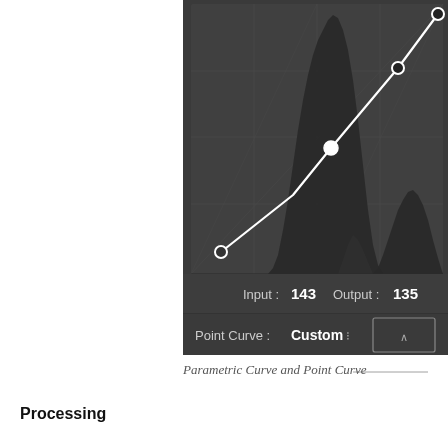[Figure (screenshot): Screenshot of a photo editing application showing a tone curve panel. The curve panel displays a histogram in the background with dark mountain-like shapes, and a white diagonal curve line with control points: one at the bottom-left corner, one in the lower-middle area (open circle), one in the middle area (filled white circle), one near upper-right (filled dark circle), and one at the top-right. Below the curve is an input/output display showing 'Input: 143  Output: 135'. At the bottom is a 'Point Curve: Custom' dropdown. A small rectangle/button is visible at bottom right.]
Parametric Curve and Point Curve
Processing